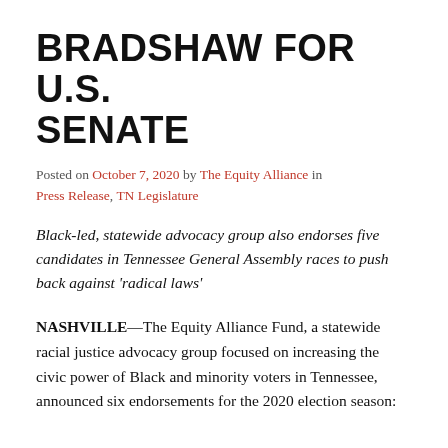BRADSHAW FOR U.S. SENATE
Posted on October 7, 2020 by The Equity Alliance in Press Release, TN Legislature
Black-led, statewide advocacy group also endorses five candidates in Tennessee General Assembly races to push back against 'radical laws'
NASHVILLE—The Equity Alliance Fund, a statewide racial justice advocacy group focused on increasing the civic power of Black and minority voters in Tennessee, announced six endorsements for the 2020 election season: